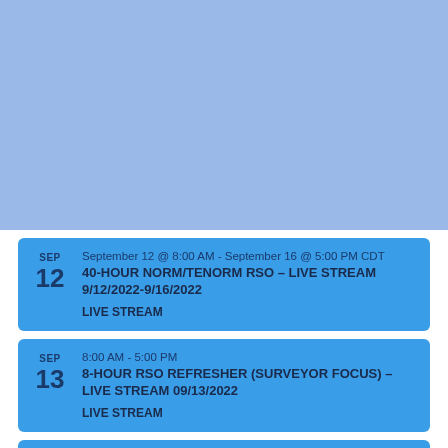[Figure (other): Light blue rectangular image placeholder at the top of the page]
SEP 12 | September 12 @ 8:00 AM - September 16 @ 5:00 PM CDT | 40-HOUR NORM/TENORM RSO – LIVE STREAM 9/12/2022-9/16/2022 | LIVE STREAM
SEP 13 | 8:00 AM - 5:00 PM | 8-HOUR RSO REFRESHER (SURVEYOR FOCUS) – LIVE STREAM 09/13/2022 | LIVE STREAM